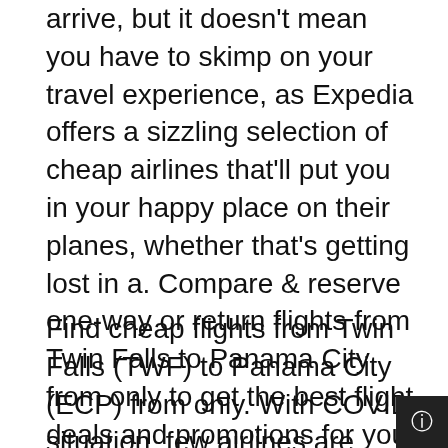arrive, but it doesn't mean you have to skimp on your travel experience, as Expedia offers a sizzling selection of cheap airlines that'll put you in your happy place on their planes, whether that's getting lost in a. Compare & reserve one-way or return flights from Twin Falls to Panama City from only to get the best flight deals and promotions for your TWF to ECP trip!
Find cheap flights from Twin Falls (TWF) to Panama City (ECP) from only. With COVID situation, few airlines are offering waiving change fees for new flight bookings. 🛈 Book flights now to enjoy up to 53% off on selected hotels. Find cheap one-way or return airline tickets & deals from Twin Falls (TWF) to Panama City (ECP) and save on your next flight with ticketbookairlines.xyz Flights from Twin Falls Airport to Northwest Florida Beaches Intl.
Airport Important: This destination may have COVID travel restrictions in place, including specific restrictions for lodging. Check any national, local and health advisories for this destination before you book. Cheap Flights from Panama City Beach to Twin Falls, ID, United States (US) TWF. Looking for cheapest flights to Twin Falls, ID, (US) TWF? You came to the right place as ticketbookairlines.xyz offers great deals and ch